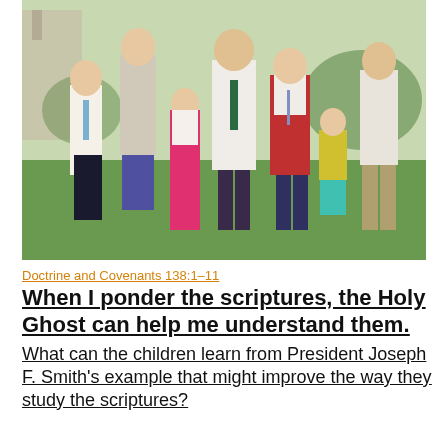[Figure (photo): A family of seven people posing outdoors on a sunny day, with green grass and a building in the background. The group includes two adults and five children dressed in formal/semi-formal attire.]
Doctrine and Covenants 138:1–11
When I ponder the scriptures, the Holy Ghost can help me understand them.
What can the children learn from President Joseph F. Smith's example that might improve the way they study the scriptures?